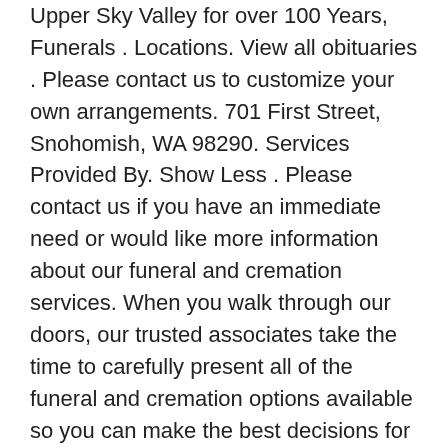Upper Sky Valley for over 100 Years, Funerals . Locations. View all obituaries . Please contact us to customize your own arrangements. 701 First Street, Snohomish, WA 98290. Services Provided By. Show Less . Please contact us if you have an immediate need or would like more information about our funeral and cremation services. When you walk through our doors, our trusted associates take the time to carefully present all of the funeral and cremation options available so you can make the best decisions for you or your loved one. Bauer Funeral Chapel. Contact Us. Request a free quote online and you'll be connected with a local funeral planning professional. It will be delivered to your inbox shortly, or you may download it using the button above. Offer applies only to pre-need funeral contracts and excludes cash advance items. He went out of his way to help me meet my needs